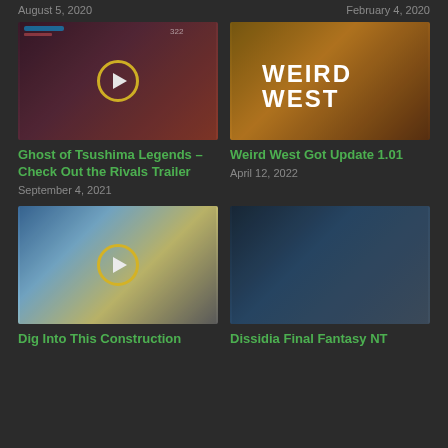August 5, 2020
February 4, 2020
[Figure (screenshot): Ghost of Tsushima Legends gameplay screenshot with play button overlay]
[Figure (screenshot): Weird West game art showing birds and cowboy figures on yellow/orange background]
Ghost of Tsushima Legends – Check Out the Rivals Trailer
September 4, 2021
Weird West Got Update 1.01
April 12, 2022
[Figure (screenshot): Construction simulator game screenshot with yellow play button overlay and construction vehicles]
[Figure (screenshot): Dissidia Final Fantasy NT game screenshot showing anime-style characters]
Dig Into This Construction
Dissidia Final Fantasy NT